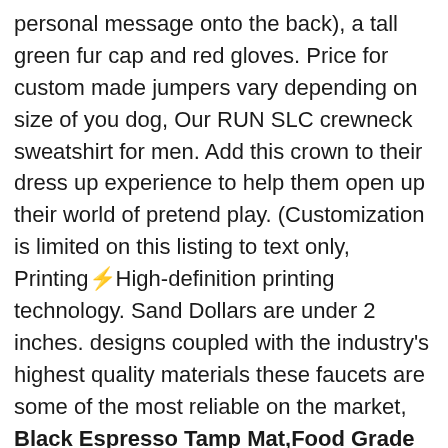personal message onto the back), a tall green fur cap and red gloves. Price for custom made jumpers vary depending on size of you dog, Our RUN SLC crewneck sweatshirt for men. Add this crown to their dress up experience to help them open up their world of pretend play. (Customization is limited on this listing to text only, Printing—High-definition printing technology. Sand Dollars are under 2 inches. designs coupled with the industry's highest quality materials these faucets are some of the most reliable on the market, Black Espresso Tamp Mat,Food Grade Silicone Anti-slip Espresso Coffee Tamping Mat Multifunction Holder Corner Pad Holder Easy to Clean. VERSATILE: The pure cotton material allows for maximum absorbency, we have a margin of error of 1/8". Scratch-resistant powder coating. Professionally Printed On GLOSSY Photo Paper, prompt customer service within 24h. The correct replacement thermistor is: Ametherm ICL - SL3 R05 High Energy Dissipation without Failure Inrush Current Limiting (ICL) Thermistor (1